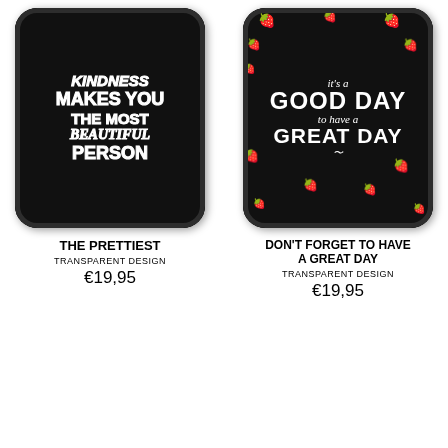[Figure (photo): Phone case with black background, white bold text reading KINDNESS MAKES YOU THE MOST BEAUTIFUL PERSON]
THE PRETTIEST
TRANSPARENT DESIGN
€19,95
[Figure (photo): Phone case with black background and strawberry pattern, white text reading it's a GOOD DAY to have a GREAT DAY]
DON'T FORGET TO HAVE A GREAT DAY
TRANSPARENT DESIGN
€19,95